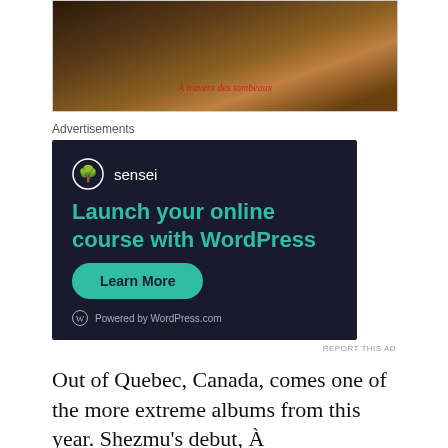[Figure (photo): Dark oil painting style image with reddish-brown tones, text 'À travers des tombeaux' in red italic at the bottom center]
Advertisements
[Figure (screenshot): Sensei advertisement on dark navy background. Logo: bonsai tree icon with 'sensei' text. Headline: 'Launch your online course with WordPress'. Green pill-shaped button: 'Learn More'. Footer: WordPress logo and 'Powered by WordPress.com']
REPORT THIS AD
Out of Quebec, Canada, comes one of the more extreme albums from this year. Shezmu's debut, À